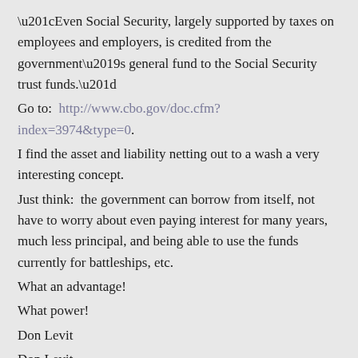“Even Social Security, largely supported by taxes on employees and employers, is credited from the government’s general fund to the Social Security trust funds.”
Go to:  http://www.cbo.gov/doc.cfm?index=3974&type=0.
I find the asset and liability netting out to a wash a very interesting concept.
Just think:  the government can borrow from itself, not have to worry about even paying interest for many years, much less principal, and being able to use the funds currently for battleships, etc.
What an advantage!
What power!
Don Levit
Don Levit